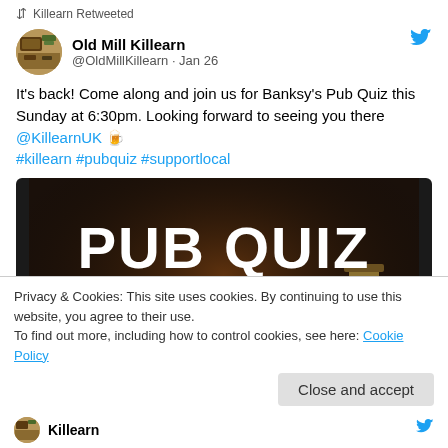Killearn Retweeted
Old Mill Killearn @OldMillKillearn · Jan 26
It's back! Come along and join us for Banksy's Pub Quiz this Sunday at 6:30pm. Looking forward to seeing you there @KillearnUK 🍺 #killearn #pubquiz #supportlocal
[Figure (photo): Dark atmospheric pub quiz promotional image with large white text 'PUB QUIZ', subtext 'SUNDAY 30TH JANUARY' and 'STARTS AT 6.30PM']
Privacy & Cookies: This site uses cookies. By continuing to use this website, you agree to their use.
To find out more, including how to control cookies, see here: Cookie Policy
Close and accept
Killearn